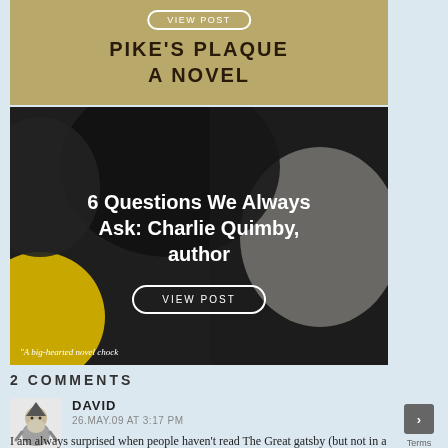[Figure (photo): Book cover card for 'Pike's Plaque: A Novel' with brown/tan background and uppercase title text, with a 'VIEW POST' button overlay]
[Figure (photo): Dark background card with abstract black, white and yellow shapes, text reading '6 Questions We Always Ask: Charlie Quimby, author' with a VIEW POST button, and quote 'A big-hearted novel chock' at bottom]
2 COMMENTS
[Figure (illustration): Small avatar illustration of a gnome or dwarf-like figure in grayscale]
DAVID
26.MAY.09 AT 3:17 PM
I am always surprised when people haven't read The Great gatsby (but not in a snobbish way). I had to read it three times,